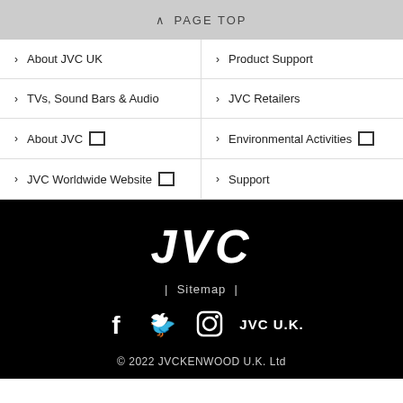^ PAGE TOP
> About JVC UK
> Product Support
> TVs, Sound Bars & Audio
> JVC Retailers
> About JVC [external]
> Environmental Activities [external]
> JVC Worldwide Website [external]
> Support
[Figure (logo): JVC logo in white bold italic text on black background]
| Sitemap |
[Figure (infographic): Social media icons: Facebook, Twitter, Instagram, and JVC U.K. label]
© 2022 JVCKENWOOD U.K. Ltd